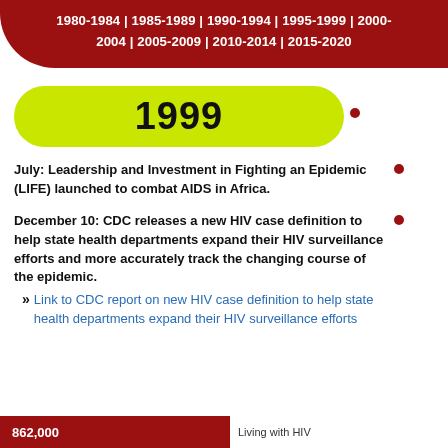1980-1984 | 1985-1989 | 1990-1994 | 1995-1999 | 2000-2004 | 2005-2009 | 2010-2014 | 2015-2020
1999
July: Leadership and Investment in Fighting an Epidemic (LIFE) launched to combat AIDS in Africa.
December 10: CDC releases a new HIV case definition to help state health departments expand their HIV surveillance efforts and more accurately track the changing course of the epidemic.
Link to CDC report on new HIV case definition to help state health departments expand their HIV surveillance efforts
862,000 Living with HIV